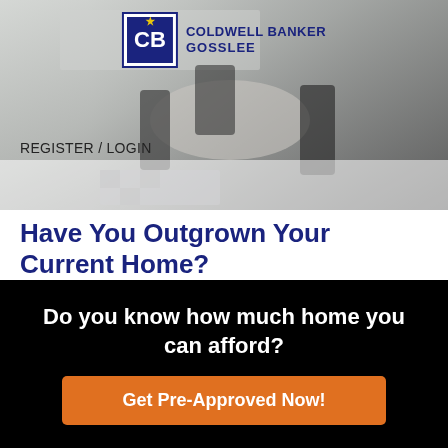[Figure (photo): Kitchen/dining room interior photo banner with Coldwell Banker Gosslee logo overlay and REGISTER / LOGIN navigation text]
Have You Outgrown Your Current Home?
Do you know how much home you can afford?
Get Pre-Approved Now!